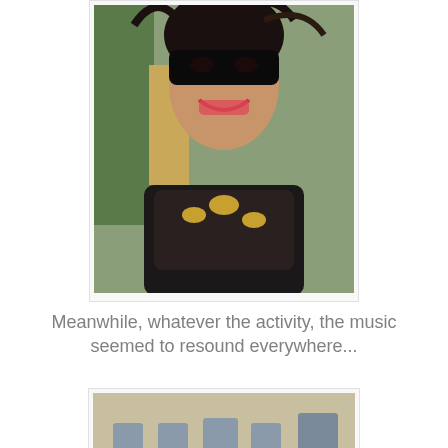[Figure (photo): A woman wearing a black and gold masquerade mask and ornate black and gold costume, smiling, with greenery in the background.]
Meanwhile, whatever the activity, the music seemed to resound everywhere...
[Figure (photo): A group of musicians in medieval-style light blue and white costumes with black feathered hats playing long gold herald trumpets decorated with blue and gold banners, standing in front of a stone building.]